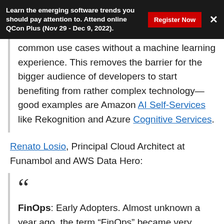Learn the emerging software trends you should pay attention to. Attend online QCon Plus (Nov 29 - Dec 9, 2022).
common use cases without a machine learning experience. This removes the barrier for the bigger audience of developers to start benefiting from rather complex technology—good examples are Amazon AI Self-Services like Rekognition and Azure Cognitive Services.
Renato Losio, Principal Cloud Architect at Funambol and AWS Data Hero:
FinOps: Early Adopters. Almost unknown a year ago, the term “FinOps” became very popular, most of the time to indicate practices that companies were already doing under other names.